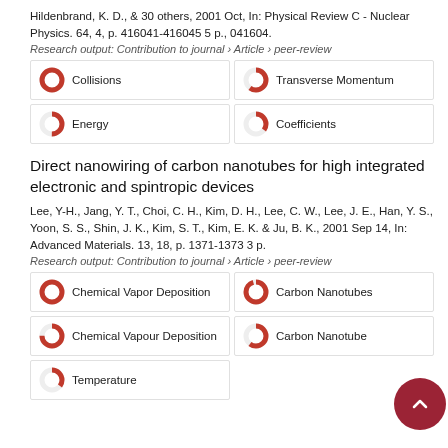Hildenbrand, K. D., & 30 others, 2001 Oct, In: Physical Review C - Nuclear Physics. 64, 4, p. 416041-416045 5 p., 041604.
Research output: Contribution to journal › Article › peer-review
[Figure (infographic): Keyword badges with donut icons: Collisions 100%, Transverse Momentum ~60%, Energy ~50%, Coefficients ~35%]
Direct nanowiring of carbon nanotubes for high integrated electronic and spintropic devices
Lee, Y-H., Jang, Y. T., Choi, C. H., Kim, D. H., Lee, C. W., Lee, J. E., Han, Y. S., Yoon, S. S., Shin, J. K., Kim, S. T., Kim, E. K. & Ju, B. K., 2001 Sep 14, In: Advanced Materials. 13, 18, p. 1371-1373 3 p.
Research output: Contribution to journal › Article › peer-review
[Figure (infographic): Keyword badges with donut icons: Chemical Vapor Deposition 100%, Carbon Nanotubes ~95%, Chemical Vapour Deposition ~75%, Carbon Nanotube ~60%, Temperature ~35%]